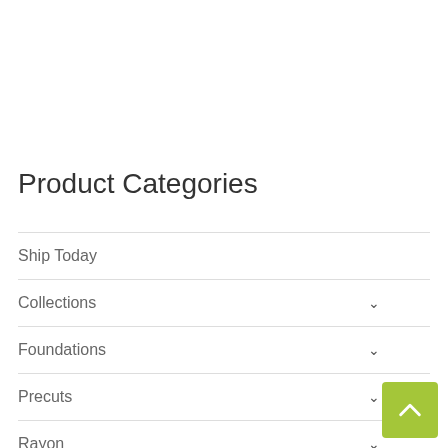Product Categories
Ship Today
Collections
Foundations
Precuts
Rayon
Widebacks